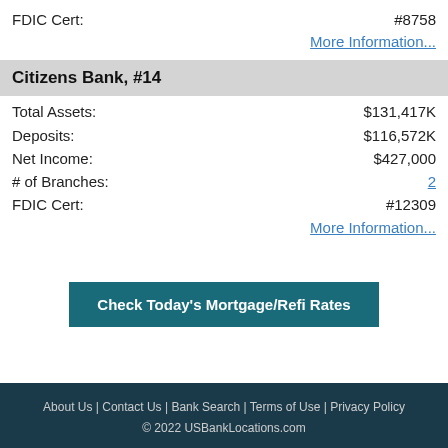FDIC Cert:    #8758
More Information...
Citizens Bank, #14
Total Assets: $131,417K
Deposits: $116,572K
Net Income: $427,000
# of Branches: 2
FDIC Cert: #12309
More Information...
Check Today's Mortgage/Refi Rates
About Us | Contact Us | Bank Search | Terms of Use | Privacy Policy
© 2022 USBankLocations.com